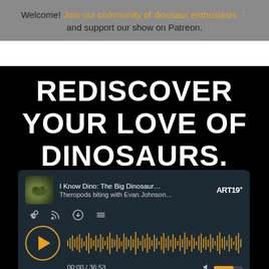Welcome! Join our community of dinosaur enthusiasts and support our show on Patreon.
REDISCOVER YOUR LOVE OF DINOSAURS.
[Figure (screenshot): Podcast player widget for 'I Know Dino: The Big Dinosaur' showing episode 'Theropods biting with Evan Johnson', ART19 branded, with play button, waveform, time 00:00 / 36:53, and volume control.]